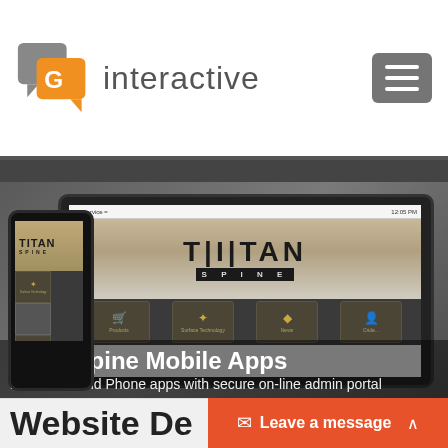[Figure (logo): G3 Interactive logo with orange and gray chat bubble icon and 'interactive' text]
[Figure (screenshot): Screenshot mockup showing Titan Spine mobile app on iOS tablet and phone devices with TITAN SPINE branding and app icon grid]
Titan Spine Mobile Apps
iOS Tablet and Phone apps with secure on-line admin portal
Website De...